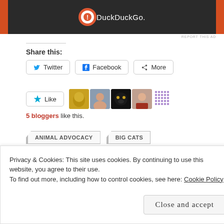[Figure (screenshot): DuckDuckGo advertisement banner with dark background and orange side panels showing DuckDuckGo logo and text]
REPORT THIS AD
Share this:
Twitter  Facebook  More
[Figure (screenshot): Like button and 5 blogger avatar thumbnails]
5 bloggers like this.
ANIMAL ADVOCACY
BIG CATS
BLACK JAGUAR WHITE TIGER
CAPTIVE WILD ANIMALS
Privacy & Cookies: This site uses cookies. By continuing to use this website, you agree to their use. To find out more, including how to control cookies, see here: Cookie Policy
Close and accept